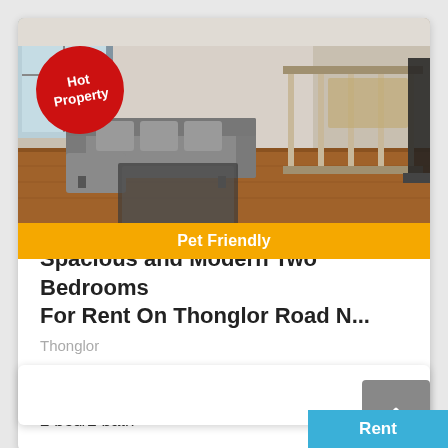[Figure (photo): Interior photo of a spacious modern apartment living room with L-shaped gray sofa, glass coffee table, wooden flooring, staircase railing, and dining area in background. Has a red 'Hot Property' circular badge overlay and an orange 'Pet Friendly' banner at the bottom of the photo.]
Spacious and Modern Two Bedrooms For Rent On Thonglor Road N...
Thonglor
2 bed/2 bath
110 Sqm
฿ 30,000